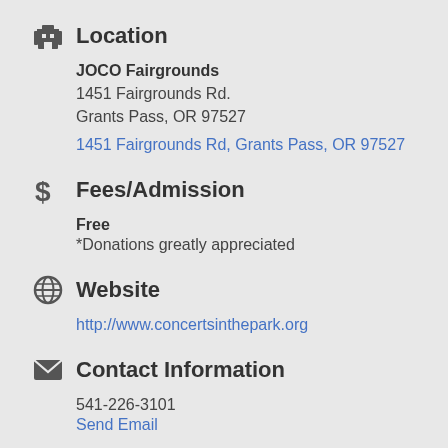Location
JOCO Fairgrounds
1451 Fairgrounds Rd.
Grants Pass, OR 97527
1451 Fairgrounds Rd, Grants Pass, OR 97527
Fees/Admission
Free
*Donations greatly appreciated
Website
http://www.concertsinthepark.org
Contact Information
541-226-3101
Send Email